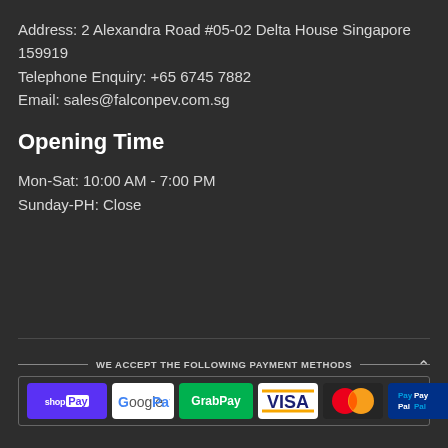Address: 2 Alexandra Road #05-02 Delta House Singapore 159919
Telephone Enquiry: +65 6745 7882
Email: sales@falconpev.com.sg
Opening Time
Mon-Sat: 10:00 AM - 7:00 PM
Sunday-PH: Close
[Figure (infographic): Payment methods banner showing: WE ACCEPT THE FOLLOWING PAYMENT METHODS — ShopPay, Google Pay, GrabPay, Visa, MasterCard, PayPal, American Express logos in a bordered box with a chevron-up arrow.]